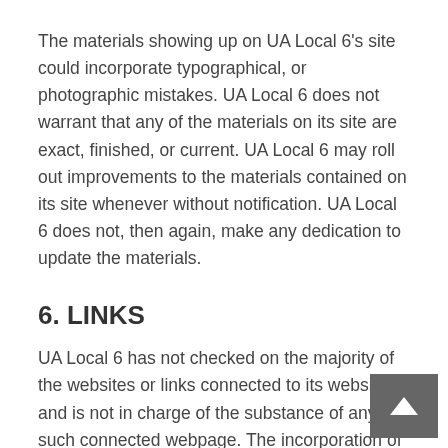The materials showing up on UA Local 6's site could incorporate typographical, or photographic mistakes. UA Local 6 does not warrant that any of the materials on its site are exact, finished, or current. UA Local 6 may roll out improvements to the materials contained on its site whenever without notification. UA Local 6 does not, then again, make any dedication to update the materials.
6. LINKS
UA Local 6 has not checked on the majority of the websites or links connected to its website and is not in charge of the substance of any such connected webpage. The incorporation of any connection does not infer support by UA Local 6